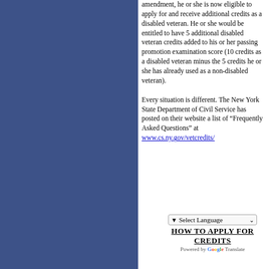amendment, he or she is now eligible to apply for and receive additional credits as a disabled veteran. He or she would be entitled to have 5 additional disabled veteran credits added to his or her passing promotion examination score (10 credits as a disabled veteran minus the 5 credits he or she has already used as a non-disabled veteran).
Every situation is different. The New York State Department of Civil Service has posted on their website a list of “Frequently Asked Questions” at www.cs.ny.gov/vetcredits/
HOW TO APPLY FOR CREDITS